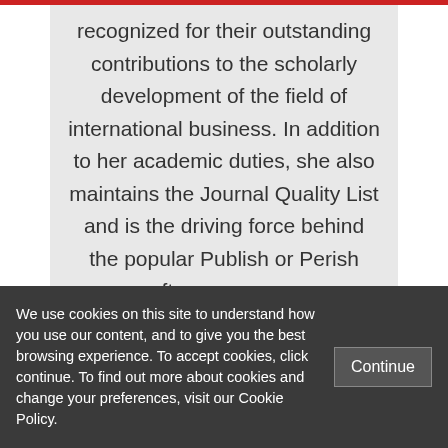recognized for their outstanding contributions to the scholarly development of the field of international business. In addition to her academic duties, she also maintains the Journal Quality List and is the driving force behind the popular Publish or Perish software program.
We use cookies on this site to understand how you use our content, and to give you the best browsing experience. To accept cookies, click continue. To find out more about cookies and change your preferences, visit our Cookie Policy.